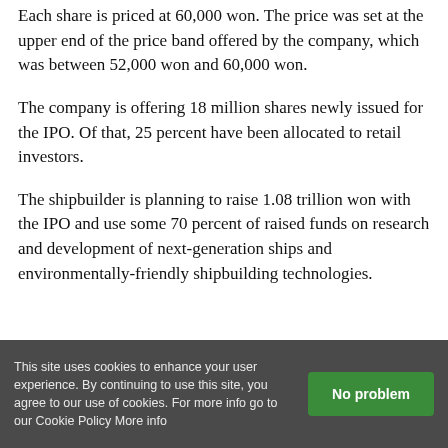Each share is priced at 60,000 won. The price was set at the upper end of the price band offered by the company, which was between 52,000 won and 60,000 won.
The company is offering 18 million shares newly issued for the IPO. Of that, 25 percent have been allocated to retail investors.
The shipbuilder is planning to raise 1.08 trillion won with the IPO and use some 70 percent of raised funds on research and development of next-generation ships and environmentally-friendly shipbuilding technologies.
This site uses cookies to enhance your user experience. By continuing to use this site, you agree to our use of cookies. For more info go to our Cookie Policy More info